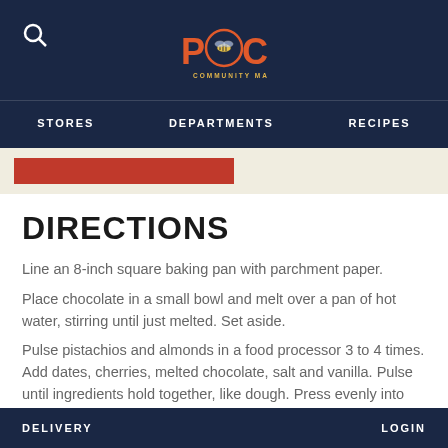PCC COMMUNITY MARKETS — STORES  DEPARTMENTS  RECIPES
DIRECTIONS
Line an 8-inch square baking pan with parchment paper.
Place chocolate in a small bowl and melt over a pan of hot water, stirring until just melted. Set aside.
Pulse pistachios and almonds in a food processor 3 to 4 times. Add dates, cherries, melted chocolate, salt and vanilla. Pulse until ingredients hold together, like dough. Press evenly into the prepared pan and smooth the top.
DELIVERY    LOGIN